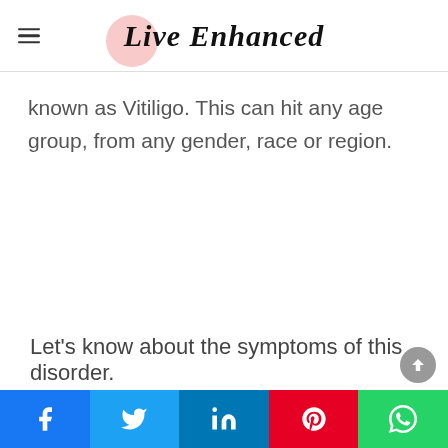Live Enhanced
known as Vitiligo. This can hit any age group, from any gender, race or region.
Let's know about the symptoms of this disorder.